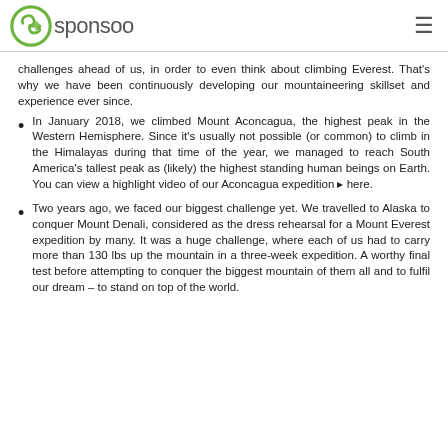sponsoo
challenges ahead of us, in order to even think about climbing Everest. That’s why we have been continuously developing our mountaineering skillset and experience ever since.
In January 2018, we climbed Mount Aconcagua, the highest peak in the Western Hemisphere. Since it’s usually not possible (or common) to climb in the Himalayas during that time of the year, we managed to reach South America’s tallest peak as (likely) the highest standing human beings on Earth. You can view a highlight video of our Aconcagua expedition ▸ here.
Two years ago, we faced our biggest challenge yet. We travelled to Alaska to conquer Mount Denali, considered as the dress rehearsal for a Mount Everest expedition by many. It was a huge challenge, where each of us had to carry more than 130 lbs up the mountain in a three-week expedition. A worthy final test before attempting to conquer the biggest mountain of them all and to fulfil our dream – to stand on top of the world.